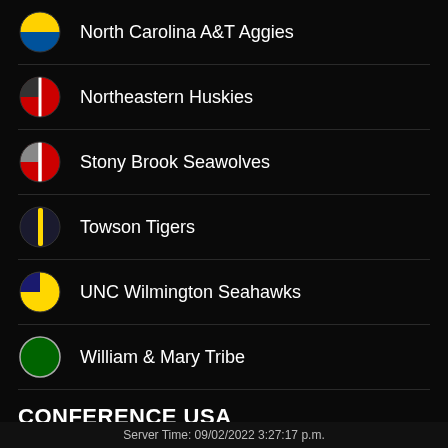North Carolina A&T Aggies
Northeastern Huskies
Stony Brook Seawolves
Towson Tigers
UNC Wilmington Seahawks
William & Mary Tribe
CONFERENCE USA
Charlotte 49ers
Florida Atlantic Owls
Server Time: 09/02/2022 3:27:17 p.m.